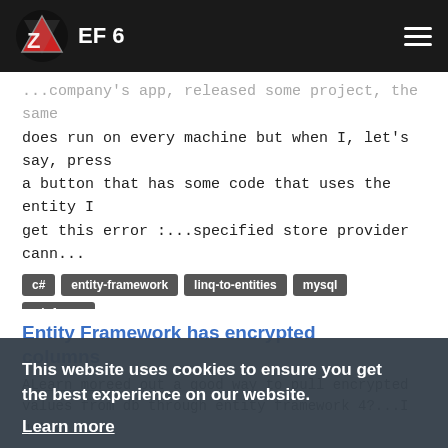EF 6
...company's app, released some project, the same does run on every machine but when I, let's say, press a button that has some code that uses the entity I get this error :...specified store provider cann...
c#
entity-framework
linq-to-entities
mysql
winforms
asked by Luiscencio
Entity Framework has encrypted columns
A...ed out a good way to pull encrypted values from db through entity framework 4?...I got a
This website uses cookies to ensure you get the best experience on our website.
Learn more
Got it!
...lues as easy as possible, and also of course, update and